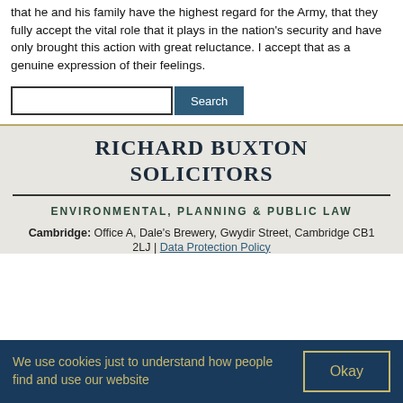that he and his family have the highest regard for the Army, that they fully accept the vital role that it plays in the nation's security and have only brought this action with great reluctance. I accept that as a genuine expression of their feelings.
[Figure (screenshot): Search bar with text input field and 'Search' button]
RICHARD BUXTON SOLICITORS
ENVIRONMENTAL, PLANNING & PUBLIC LAW
Cambridge: Office A, Dale's Brewery, Gwydir Street, Cambridge CB1 2LJ | Data Protection Policy
We use cookies just to understand how people find and use our website
Okay